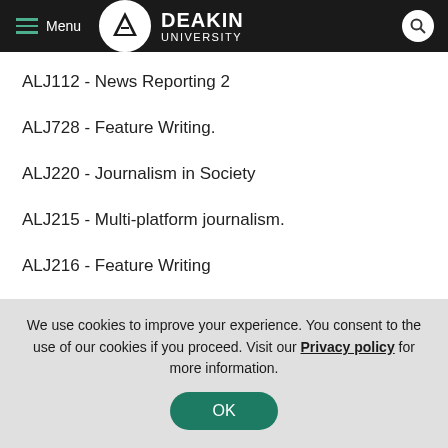Menu | Deakin University
ALJ112 - News Reporting 2
ALJ728 - Feature Writing.
ALJ220 - Journalism in Society
ALJ215 - Multi-platform journalism.
ALJ216 - Feature Writing
ALJ304 - Local Community Journalism.
We use cookies to improve your experience. You consent to the use of our cookies if you proceed. Visit our Privacy policy for more information.
OK